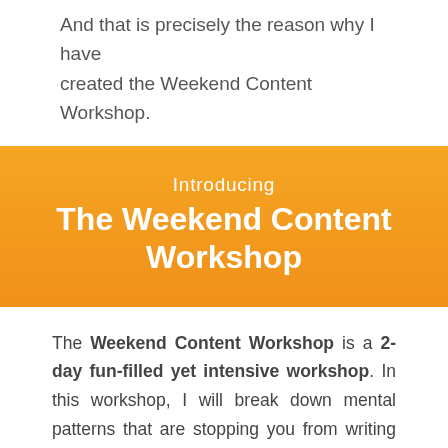And that is precisely the reason why I have created the Weekend Content Workshop.
Introducing
The Weekend Content Workshop
The Weekend Content Workshop is a 2-day fun-filled yet intensive workshop. In this workshop, I will break down mental patterns that are stopping you from writing content and teach